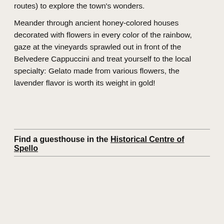routes) to explore the town's wonders.

Meander through ancient honey-colored houses decorated with flowers in every color of the rainbow, gaze at the vineyards sprawled out in front of the Belvedere Cappuccini and treat yourself to the local specialty: Gelato made from various flowers, the lavender flavor is worth its weight in gold!
Find a guesthouse in the Historical Centre of Spello